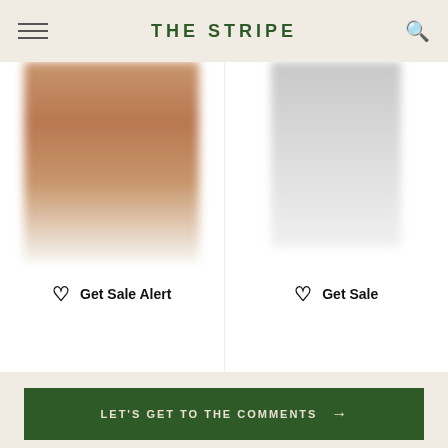THE STRIPE
[Figure (photo): Two product photos side by side - left shows a close-up of legs/feet with brown sandals on a white background, right shows a figure in white clothing against white background. Both images are partially cropped/blurred.]
Get Sale Alert
Get Sale
LET'S GET TO THE COMMENTS →
From Sites I Love